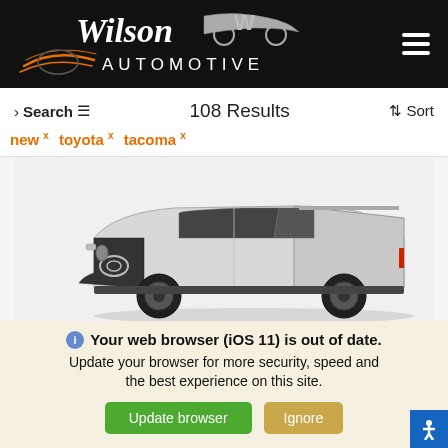[Figure (logo): Wilson Automotive logo with stylized car silhouette and orange racing stripe lines on black background]
Search  108 Results  Sort
new x  toyota x  tacoma x
[Figure (photo): White Toyota Tacoma pickup truck on white/light gray background, front three-quarter view]
Your web browser (iOS 11) is out of date. Update your browser for more security, speed and the best experience on this site.
Update browser   Ignore